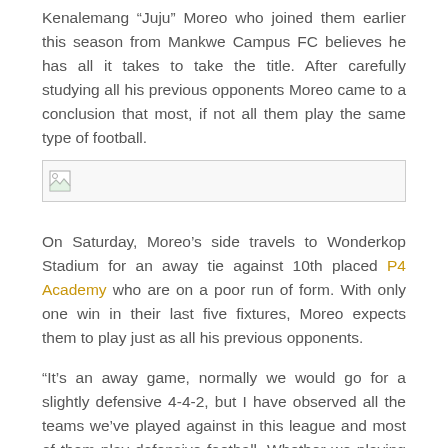Kenalemang “Juju” Moreo who joined them earlier this season from Mankwe Campus FC believes he has all it takes to take the title. After carefully studying all his previous opponents Moreo came to a conclusion that most, if not all them play the same type of football.
[Figure (other): Broken image placeholder with small image icon]
On Saturday, Moreo’s side travels to Wonderkop Stadium for an away tie against 10th placed P4 Academy who are on a poor run of form. With only one win in their last five fixtures, Moreo expects them to play just as all his previous opponents.
“It’s an away game, normally we would go for a slightly defensive 4-4-2, but I have observed all the teams we’ve played against in this league and most of them play defensive football. Whether we playing them